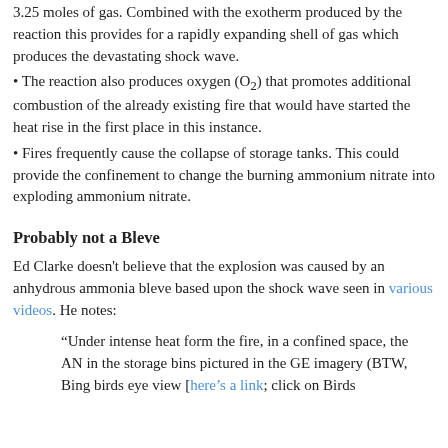3.25 moles of gas. Combined with the exotherm produced by the reaction this provides for a rapidly expanding shell of gas which produces the devastating shock wave.
The reaction also produces oxygen (O2) that promotes additional combustion of the already existing fire that would have started the heat rise in the first place in this instance.
Fires frequently cause the collapse of storage tanks. This could provide the confinement to change the burning ammonium nitrate into exploding ammonium nitrate.
Probably not a Bleve
Ed Clarke doesn't believe that the explosion was caused by an anhydrous ammonia bleve based upon the shock wave seen in various videos. He notes:
“Under intense heat form the fire, in a confined space, the AN in the storage bins pictured in the GE imagery (BTW, Bing birds eye view [here’s a link; click on Birds